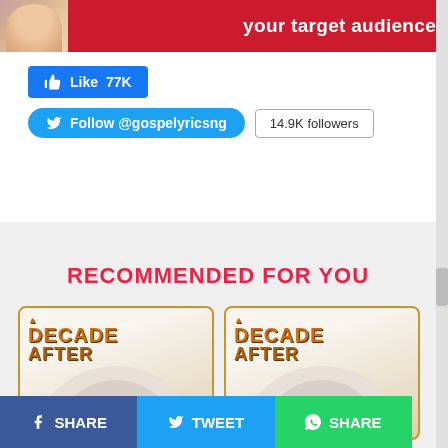[Figure (screenshot): Top red banner with text 'your target audience' and a woman's face on the left]
[Figure (screenshot): Facebook Like button showing 77K likes]
[Figure (screenshot): Twitter Follow button for @gospelyricsng with 14.9K followers]
RECOMMENDED FOR YOU
[Figure (photo): Album cover for 'A Decade After' - left card]
[Figure (photo): Album cover for 'A Decade After' - right card]
[Figure (screenshot): Bottom share bar with Facebook SHARE, Twitter TWEET, and WhatsApp SHARE buttons]